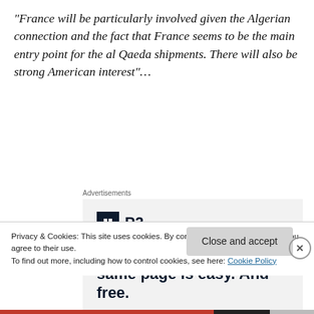“France will be particularly involved given the Algerian connection and the fact that France seems to be the main entry point for the al Qaeda shipments. There will also be strong American interest”…
Advertisements
[Figure (infographic): Advertisement for P2 with logo and text: Getting your team on the same page is easy. And free.]
Privacy & Cookies: This site uses cookies. By continuing to use this website, you agree to their use.
To find out more, including how to control cookies, see here: Cookie Policy
Close and accept